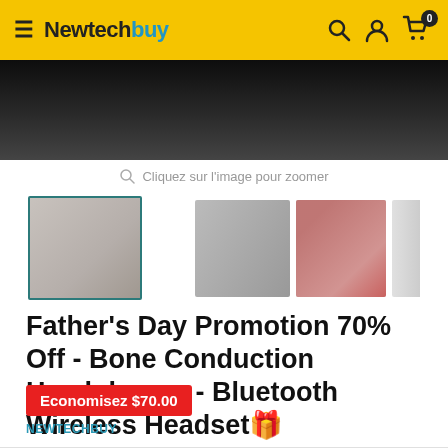Newtechbuy
[Figure (photo): Product photo — dark background showing bone conduction headphones (partial crop)]
Cliquez sur l'image pour zoomer
[Figure (photo): Three product thumbnail images: first selected with teal border, second shows cable, third shows red ear piece, fourth partially visible]
Father's Day Promotion 70% Off - Bone Conduction Headphones - Bluetooth Wireless Headset🎁
Economisez $70.00
NEWTECHBUY